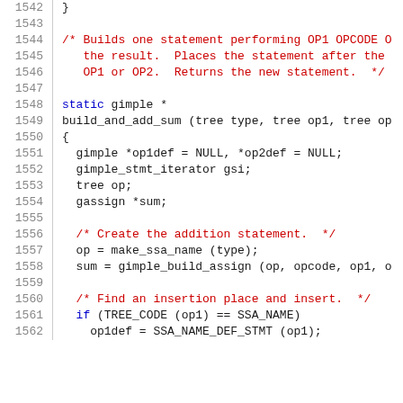1542  }
1543  
1544  /* Builds one statement performing OP1 OPCODE O
1545      the result.  Places the statement after the
1546      OP1 or OP2.  Returns the new statement.  */
1547  
1548  static gimple *
1549  build_and_add_sum (tree type, tree op1, tree op
1550  {
1551    gimple *op1def = NULL, *op2def = NULL;
1552    gimple_stmt_iterator gsi;
1553    tree op;
1554    gassign *sum;
1555  
1556    /* Create the addition statement.  */
1557    op = make_ssa_name (type);
1558    sum = gimple_build_assign (op, opcode, op1, o
1559  
1560    /* Find an insertion place and insert.  */
1561    if (TREE_CODE (op1) == SSA_NAME)
1562      op1def = SSA_NAME_DEF_STMT (op1);